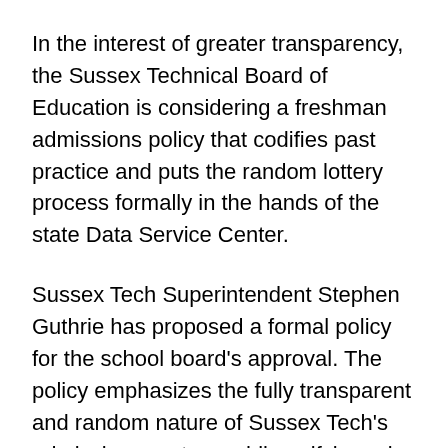In the interest of greater transparency, the Sussex Technical Board of Education is considering a freshman admissions policy that codifies past practice and puts the random lottery process formally in the hands of the state Data Service Center.
Sussex Tech Superintendent Stephen Guthrie has proposed a formal policy for the school board's approval. The policy emphasizes the fully transparent and random nature of Sussex Tech's admissions system, while unifying prior procedures in one location. The associated administrative regulations spell out procedures for incoming freshmen and upper-class applicants.